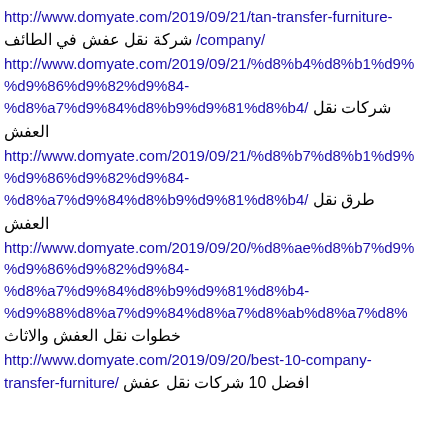http://www.domyate.com/2019/09/21/tan-transfer-furniture-company/ شركة نقل عفش في الطائف /
http://www.domyate.com/2019/09/21/%d8%b4%d8%b1%d9%%d9%86%d9%82%d9%84-%d8%a7%d9%84%d8%b9%d9%81%d8%b4/ شركات نقل العفش
http://www.domyate.com/2019/09/21/%d8%b7%d8%b1%d9%%d9%86%d9%82%d9%84-%d8%a7%d9%84%d8%b9%d9%81%d8%b4/ طرق نقل العفش
http://www.domyate.com/2019/09/20/%d8%ae%d8%b7%d9%%d9%86%d9%82%d9%84-%d8%a7%d9%84%d8%b9%d9%81%d8%b4-%d9%88%d8%a7%d9%84%d8%a7%d8%ab%d8%a7%d8%ab/ خطوات نقل العفش والاثاث
http://www.domyate.com/2019/09/20/best-10-company-transfer-furniture/ افضل 10 شركات نقل عفش /